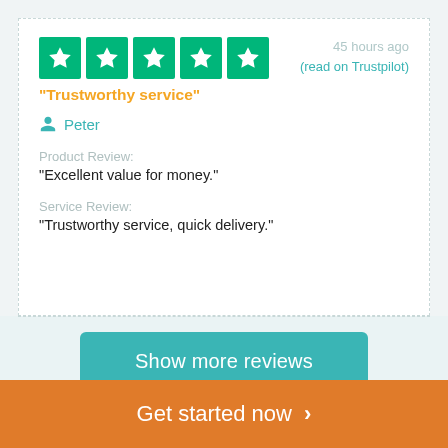[Figure (other): Five green star rating boxes (Trustpilot style)]
45 hours ago
(read on Trustpilot)
"Trustworthy service"
Peter
Product Review:
"Excellent value for money."
Service Review:
"Trustworthy service, quick delivery."
Show more reviews
Get started now >